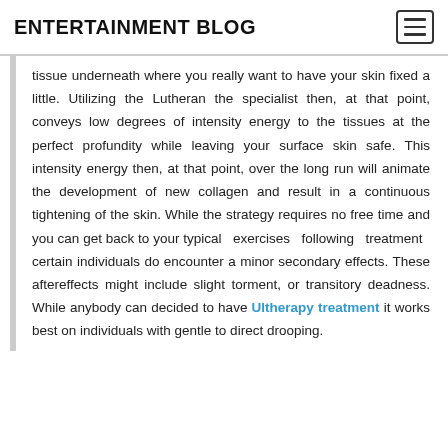ENTERTAINMENT BLOG
tissue underneath where you really want to have your skin fixed a little. Utilizing the Lutheran the specialist then, at that point, conveys low degrees of intensity energy to the tissues at the perfect profundity while leaving your surface skin safe. This intensity energy then, at that point, over the long run will animate the development of new collagen and result in a continuous tightening of the skin. While the strategy requires no free time and you can get back to your typical exercises following treatment certain individuals do encounter a minor secondary effects. These aftereffects might include slight torment, or transitory deadness. While anybody can decided to have Ultherapy treatment it works best on individuals with gentle to direct drooping.